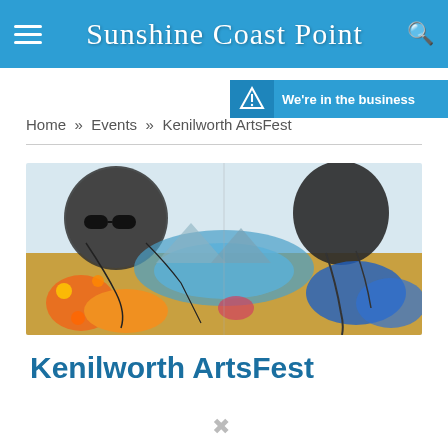Sunshine Coast Point
[Figure (screenshot): Partially visible advertisement banner with text 'We're in the business...' on blue background]
Home » Events » Kenilworth ArtsFest
[Figure (illustration): Colorful artwork featuring two abstract figures with sunglasses and stylized natural landscape with flowers, lake, and mountains in yellows, blues, and oranges]
Kenilworth ArtsFest